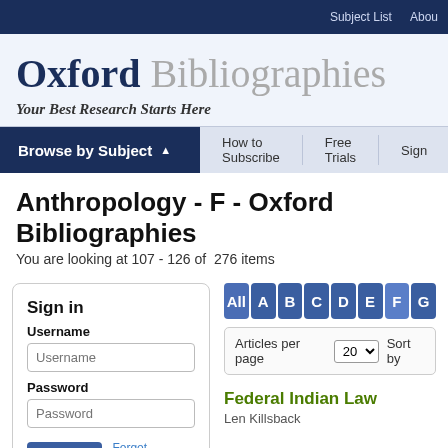Subject List   About
Oxford Bibliographies
Your Best Research Starts Here
Browse by Subject   How to Subscribe   Free Trials   Sign
Anthropology - F - Oxford Bibliographies
You are looking at 107 - 126 of  276 items
Sign in
Username
Password
All A B C D E F G
Articles per page  20  Sort by
Federal Indian Law
Len Killsback